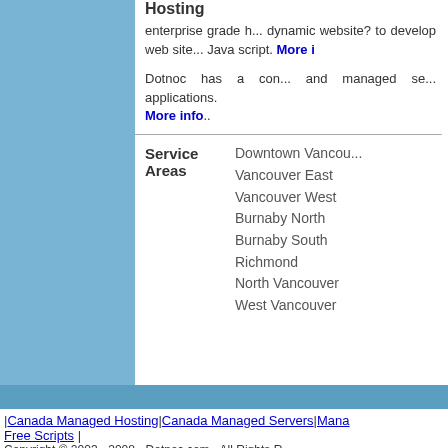Hosting
enterprise grade h... dynamic website? to develop web site... Java script. More i...
Dotnoc has a con... and managed se... applications. More info..
Service Areas
Downtown Vancou...
Vancouver East
Vancouver West
Burnaby North
Burnaby South
Richmond
North Vancouver
West Vancouver
| Canada Managed Hosting | Canada Managed Servers | Mana... Free Scripts | Copyright © 2003 - 2008 - Dotnoc.com - All Rights R...